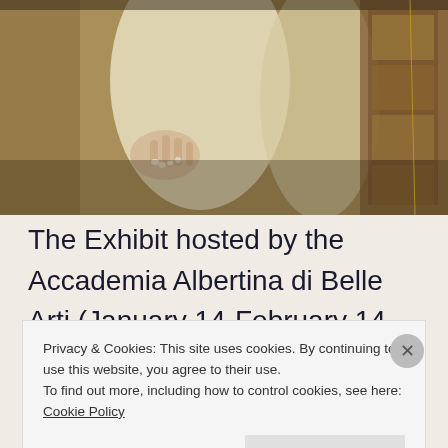[Figure (illustration): Cropped section of a classical painting showing draped figures with hands, robes, and a decorative panel on the right side. Warm ochre, cream, and brown tones.]
The Exhibit hosted by the Accademia Albertina di Belle Arti (January 14-February 14, 2010), features original works by seven important contemporary Japanese artists: ABe Yoshitoshi, Kugatsubime, Kugatsubime, Takada Akemi,
Privacy & Cookies: This site uses cookies. By continuing to use this website, you agree to their use.
To find out more, including how to control cookies, see here: Cookie Policy
Close and accept